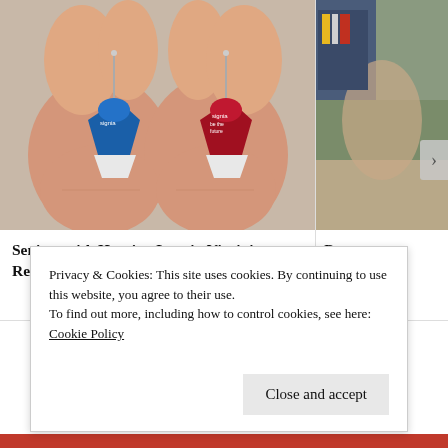[Figure (photo): Two fingers holding small hearing aids — one blue (left) and one red (right) — both with a thin antenna wire on top and a white ear tip below. Background is light gray.]
Seniors with Hearing Loss in Virginia Regret Not Knowing This Sooner
[Figure (photo): Partial view of a person in a room setting, partially cropped. Green and beige tones visible.]
Powe Aids C
Privacy & Cookies: This site uses cookies. By continuing to use this website, you agree to their use.
To find out more, including how to control cookies, see here: Cookie Policy
Close and accept